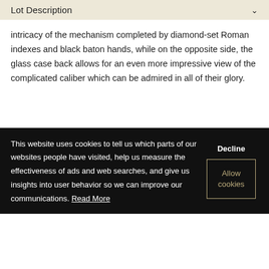Lot Description
intricacy of the mechanism completed by diamond-set Roman indexes and black baton hands, while on the opposite side, the glass case back allows for an even more impressive view of the complicated caliber which can be admired in all of their glory.
This website uses cookies to tell us which parts of our websites people have visited, help us measure the effectiveness of ads and web searches, and give us insights into user behavior so we can improve our communications. Read More
Decline
Allow cookies